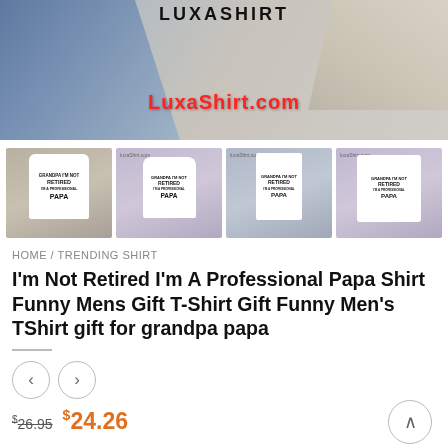[Figure (photo): LuxaShirt.com website banner with clothing items including jeans, white shirt, and sneakers. Red text overlay reads 'LuxaShirt.com']
[Figure (photo): Four product thumbnail images showing 'I'm Not Retired I'm A Professional Papa' t-shirt in different styles: regular tee, women's cut, tank top, and long sleeve]
HOME / TRENDING SHIRT
I'm Not Retired I'm A Professional Papa Shirt Funny Mens Gift T-Shirt Gift Funny Men's TShirt gift for grandpa papa
$26.95  $24.26